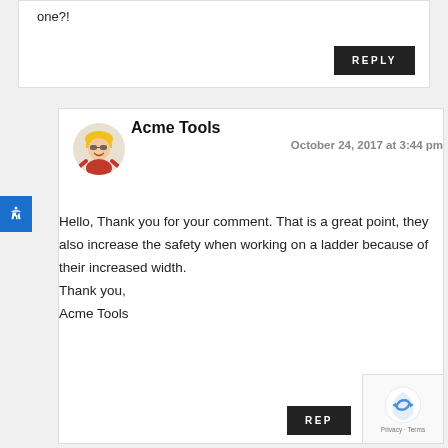one?!
REPLY
Acme Tools
October 24, 2017 at 3:44 pm
Hello, Thank you for your comment. That is a great point, they also increase the safety when working on a ladder because of their increased width.
Thank you,
Acme Tools
REP